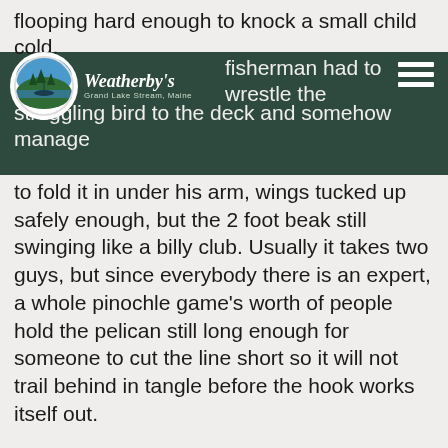Weatherby's — Grand Lake Stream, Maine
flooping hard enough to knock a small child cold. the fisherman had to wrestle the struggling bird to the deck and somehow manage to fold it in under his arm, wings tucked up safely enough, but the 2 foot beak still swinging like a billy club. Usually it takes two guys, but since everybody there is an expert, a whole pinochle game's worth of people hold the pelican still long enough for someone to cut the line short so it will not trail behind in tangle before the hook works itself out.
I cannot imagine too many fellow anglers rushing over to help me subdue a flying rat with razor teeth and the quickness of a cobra. From the moment I figured out how to catch landlocked salmon on Grand Lake Stream, the bat threat was